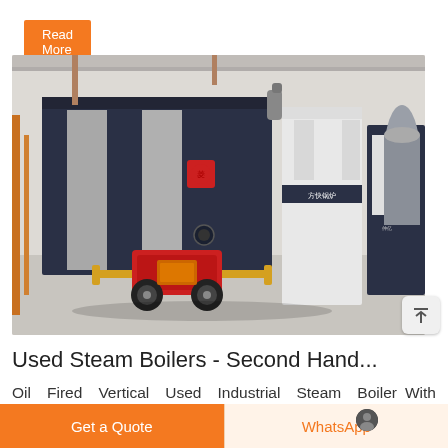Read More
[Figure (photo): Industrial steam boilers in a factory setting. Large dark blue/grey metal boiler unit on left with silver panels and a red burner/turbine mechanism at the bottom. White vertical boiler units visible in the background right. Yellow pipes connect components. Concrete floor, industrial ceiling visible.]
Used Steam Boilers - Second Hand...
Oil Fired Vertical Used Industrial Steam Boiler With Turbine. ₹ 60 Lakh. Get Quote. Used 5 Tons
Get a Quote
WhatsApp